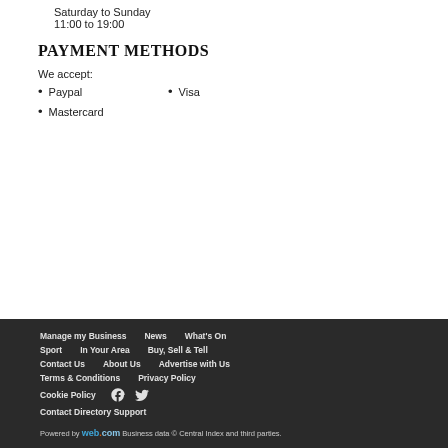Saturday to Sunday
11:00 to 19:00
PAYMENT METHODS
We accept:
Paypal
Mastercard
Visa
Manage my Business  News  What's On  Sport  In Your Area  Buy, Sell & Tell  Contact Us  About Us  Advertise with Us  Terms & Conditions  Privacy Policy  Cookie Policy  Contact Directory Support  Powered by web.com Business data © Central Index and third parties.